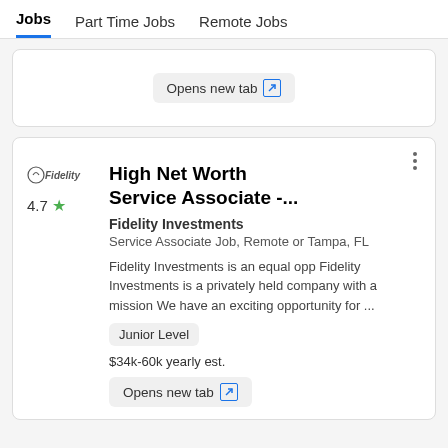Jobs  Part Time Jobs  Remote Jobs
Opens new tab
High Net Worth Service Associate -...
Fidelity Investments
Service Associate Job, Remote or Tampa, FL
Fidelity Investments is an equal opp Fidelity Investments is a privately held company with a mission We have an exciting opportunity for ...
Junior Level
$34k-60k yearly est.
Opens new tab